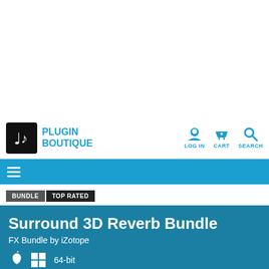[Figure (logo): Plugin Boutique logo with music note icon and blue text]
LOG IN  CART  SEARCH
≡
BUNDLE  TOP RATED
Surround 3D Reverb Bundle
FX Bundle by iZotope
64-bit